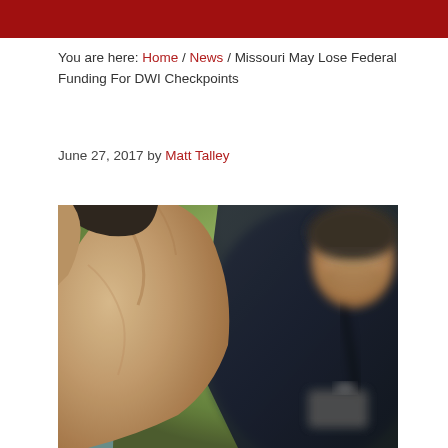You are here: Home / News / Missouri May Lose Federal Funding For DWI Checkpoints
June 27, 2017 by Matt Talley
[Figure (photo): A person holding their hand to the back of their head while a law enforcement officer holds a breathalyzer device toward them, outdoors with a green blurred background.]